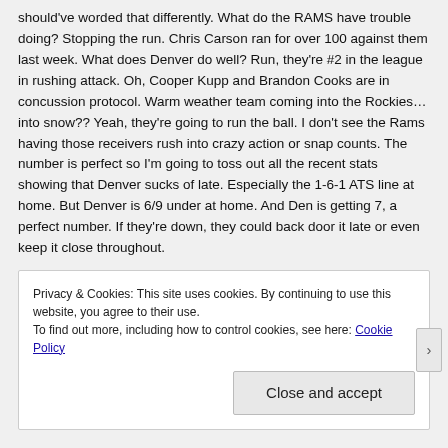should've worded that differently. What do the RAMS have trouble doing? Stopping the run. Chris Carson ran for over 100 against them last week. What does Denver do well? Run, they're #2 in the league in rushing attack. Oh, Cooper Kupp and Brandon Cooks are in concussion protocol. Warm weather team coming into the Rockies…into snow?? Yeah, they're going to run the ball. I don't see the Rams having those receivers rush into crazy action or snap counts. The number is perfect so I'm going to toss out all the recent stats showing that Denver sucks of late. Especially the 1-6-1 ATS line at home. But Denver is 6/9 under at home. And Den is getting 7, a perfect number. If they're down, they could back door it late or even keep it close throughout.
Privacy & Cookies: This site uses cookies. By continuing to use this website, you agree to their use. To find out more, including how to control cookies, see here: Cookie Policy